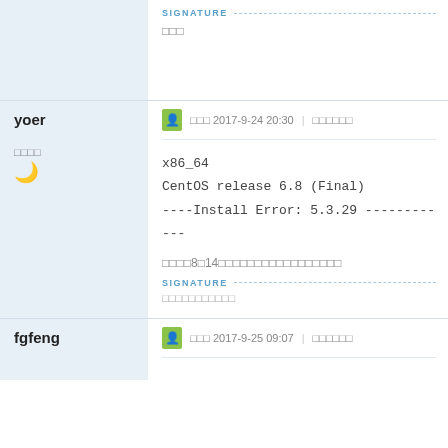SIGNATURE
□□□
yoer
□□□□
□□□ 2017-9-24 20:30 | □□□□□□
x86_64
CentOS release 6.8 (Final)
----Install Error: 5.3.29 ------------
□□□□8□14□□□□□□□□□□□□□□□□□
SIGNATURE
□□□□□□□□□□□
fgfeng
□□□ 2017-9-25 09:07 | □□□□□□